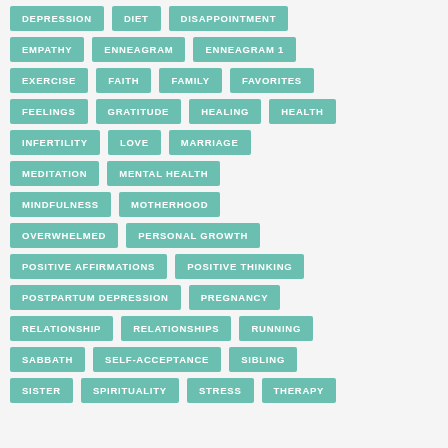DEPRESSION
DIET
DISAPPOINTMENT
EMPATHY
ENNEAGRAM
ENNEAGRAM 1
EXERCISE
FAITH
FAMILY
FAVORITES
FEELINGS
GRATITUDE
HEALING
HEALTH
INFERTILITY
LOVE
MARRIAGE
MEDITATION
MENTAL HEALTH
MINDFULNESS
MOTHERHOOD
OVERWHELMED
PERSONAL GROWTH
POSITIVE AFFIRMATIONS
POSITIVE THINKING
POSTPARTUM DEPRESSION
PREGNANCY
RELATIONSHIP
RELATIONSHIPS
RUNNING
SABBATH
SELF-ACCEPTANCE
SIBLING
SISTER
SPIRITUALITY
STRESS
THERAPY